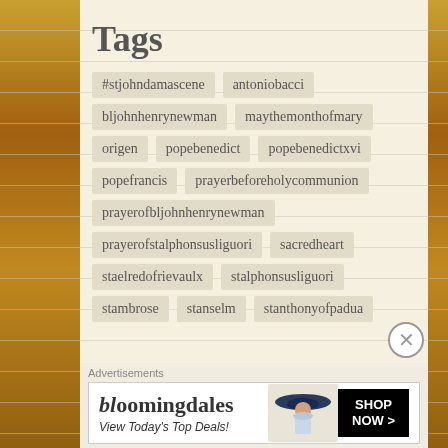Tags
#stjohndamascene
antoniobacci
bljohnhenrynewman
maythemonthofmary
origen
popebenedict
popebenedictxvi
popefrancis
prayerbeforeholycommunion
prayerofbljohnhenrynewman
prayerofstalphonsusliguori
sacredheart
staelredofrievaulx
stalphonsusliguori
stambrose
stanselm
stanthonyofpadua
Advertisements
[Figure (other): Bloomingdale's advertisement banner with logo, tagline 'View Today's Top Deals!' and woman in hat, with 'SHOP NOW >' button]